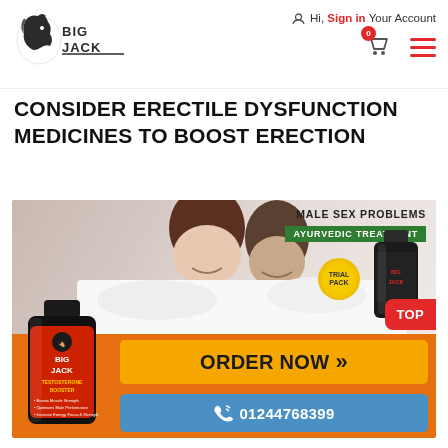Hi, Sign in Your Account
CONSIDER ERECTILE DYSFUNCTION MEDICINES TO BOOST ERECTION
[Figure (photo): BigJack testosterone booster advertisement banner showing a couple lying together, product bottles, 'MALE SEX PROBLEMS AYURVEDIC TREATMENT' text, ORDER NOW button, and phone number 01244768399]
ORDER NOW »
☎ 01244768399